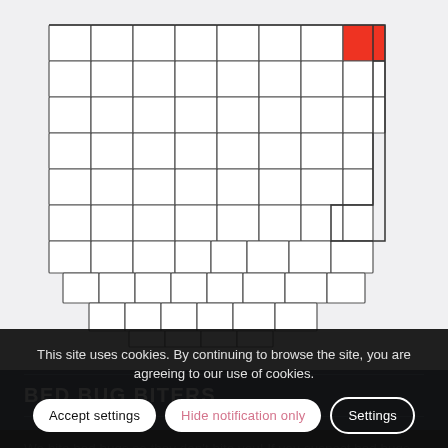[Figure (map): Map of Ohio counties with one county highlighted in red in the northeast corner of the state]
BED BUG BITERS
We bite bed bugs so they don't bite you! If you suspect bed bugs have invaded your home, give us a call... come back to
This site uses cookies. By continuing to browse the site, you are agreeing to our use of cookies.